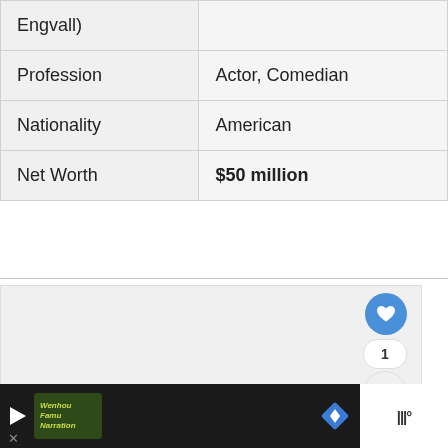| Profession | Actor, Comedian |
| Nationality | American |
| Net Worth | $50 million |
[Figure (screenshot): Social sharing UI with heart/like button (blue circle with heart icon), count badge showing '1', and share button (circle with share icon). Below is a 'WHAT'S NEXT' card showing a thumbnail image and text 'ASAP Ferg Net Worth'.]
[Figure (screenshot): Bottom advertisement bar with dark background, play button, green logo image, blue diamond navigation icon, and white 'tidal' branding section on the right.]